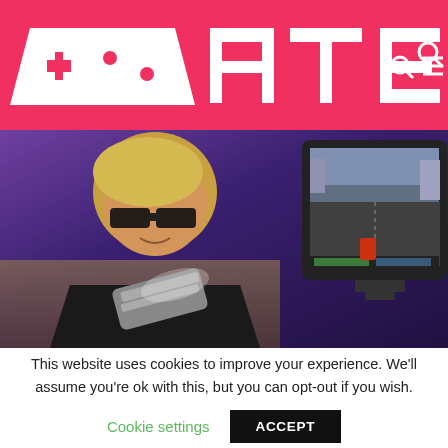ATE - gaming website header with logo
[Figure (photo): Person with sunglasses holding a game controller, looking at a CRT monitor displaying a racing game, against a purple background]
This website uses cookies to improve your experience. We'll assume you're ok with this, but you can opt-out if you wish.
Cookie settings  ACCEPT